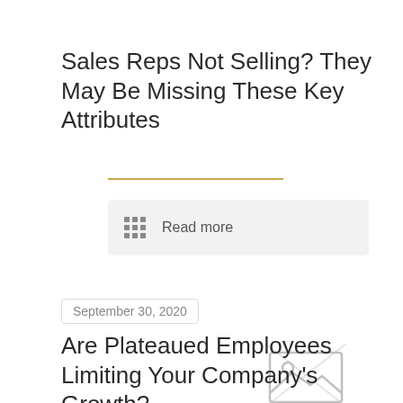Sales Reps Not Selling? They May Be Missing These Key Attributes
[Figure (other): Read more button with grid icon]
September 30, 2020
[Figure (illustration): Broken image placeholder icon]
Are Plateaued Employees Limiting Your Company's Growth?